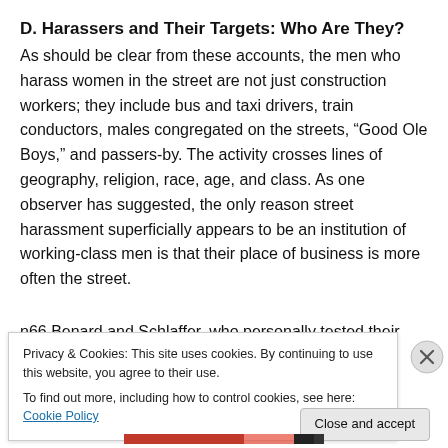D. Harassers and Their Targets: Who Are They?
As should be clear from these accounts, the men who harass women in the street are not just construction workers; they include bus and taxi drivers, train conductors, males congregated on the streets, “Good Ole Boys,” and passers-by. The activity crosses lines of geography, religion, race, age, and class. As one observer has suggested, the only reason street harassment superficially appears to be an institution of working-class men is that their place of business is more often the street.
n66 Benard and Schlaffer, who personally tested their
Privacy & Cookies: This site uses cookies. By continuing to use this website, you agree to their use.
To find out more, including how to control cookies, see here: Cookie Policy
Close and accept